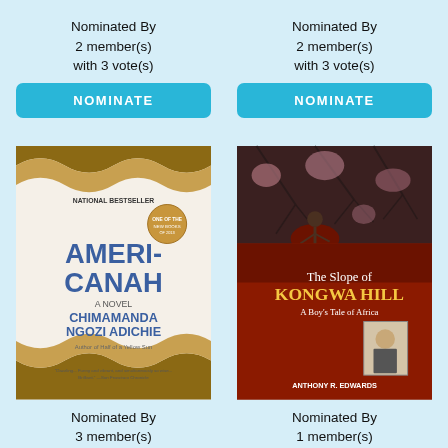Nominated By
2 member(s)
with 3 vote(s)
NOMINATE
Nominated By
2 member(s)
with 3 vote(s)
NOMINATE
[Figure (illustration): Book cover of Americanah: A Novel by Chimamanda Ngozi Adichie, National Bestseller, with decorative wave pattern borders]
Nominated By
3 member(s)
with 3 vote(s)
NOMINATE
[Figure (illustration): Book cover of The Slope of Kongwa Hill: A Boy's Tale of Africa by Anthony R. Edwards, with red and dark background]
Nominated By
1 member(s)
with 3 vote(s)
NOMINATE